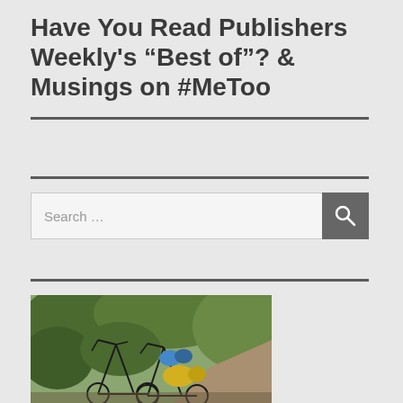Have You Read Publishers Weekly's “Best of”? & Musings on #MeToo
[Figure (photo): Two bicycles leaning against each other on a dirt path surrounded by green foliage and bushes, with a yellow bag visible on one of the bikes.]